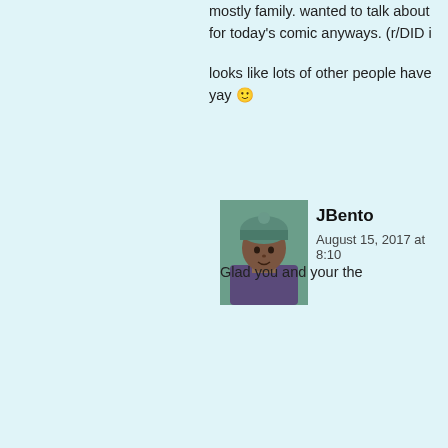mostly family. wanted to talk about for today's comic anyways. (r/DID i
looks like lots of other people have yay 🙂
[Figure (illustration): Avatar illustration of JBento - animated character with teal/green beanie hat and dark skin]
JBento
August 15, 2017 at 8:10
Glad you and your the
[Figure (photo): Photo of Jordan - person outdoors in nature, wearing yellow jacket, with fire/orange light in background]
Jordan
August 15, 2017 at 2:05 am | #
Everyone in this comic (just like rea struggling with PTSD and is having shaken as time goes on. Ethan is s unhealthy way. Sarah and Joe both though Sarah has had more luck in extent). Amber's unhealthy attempt makes everything worse for herself tired and you get the point.
[Figure (illustration): Avatar illustration of EvolutionistX - animated character with dark curly hair and dark skin, smiling]
EvolutionistX
August 15, 2017 at 2:18
If there were a like bu